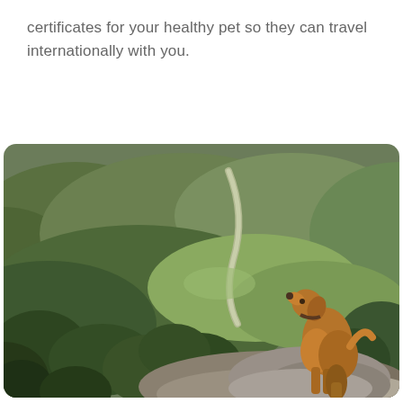certificates for your healthy pet so they can travel internationally with you.
[Figure (photo): A golden-brown dog standing on a rocky outcrop, looking upward with its head raised, overlooking a lush green hilly landscape with a winding road and trees in the background.]